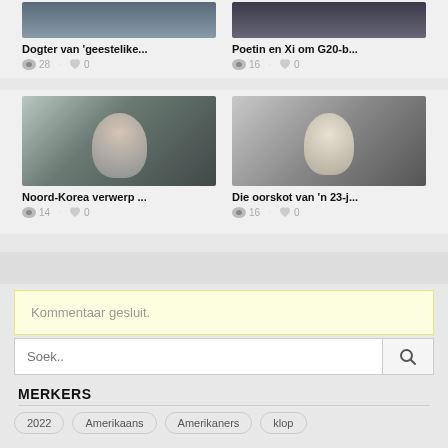[Figure (photo): Partial top image of a person, left card]
[Figure (photo): Partial top image of two people, right card]
Dogter van 'geestelike...
28  0
Poetin en Xi om G20-b...
16  0
[Figure (photo): Photo of a young Asian woman with black hair]
[Figure (photo): Black and white photo of a young man in military uniform]
Noord-Korea verwerp ...
14  0
Die oorskot van 'n 23-j...
16  0
Kommentaar gesluit.
Soek..
MERKERS
2022
Amerikaans
Amerikaners
klop